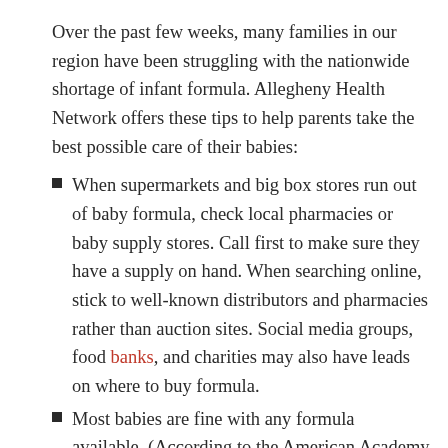Over the past few weeks, many families in our region have been struggling with the nationwide shortage of infant formula. Allegheny Health Network offers these tips to help parents take the best possible care of their babies:
When supermarkets and big box stores run out of baby formula, check local pharmacies or baby supply stores. Call first to make sure they have a supply on hand. When searching online, stick to well-known distributors and pharmacies rather than auction sites. Social media groups, food banks, and charities may also have leads on where to buy formula.
Most babies are fine with any formula available. (According to the American Academy of Pediatrics, the exception is for babies who need a heavily hydrolyzed or amino acid-based formula like Elecare.) If you have a part of the formula your baby is used to, you may want to mix it with the new formula to minimize digestive upset.
Don't try to make more formula by adding more water, or